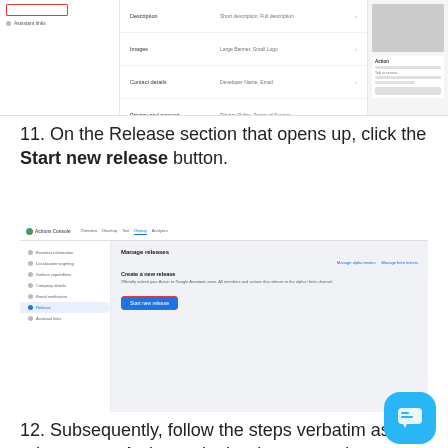[Figure (screenshot): Screenshot of a Google Actions Console interface showing fields: Description, Images, Contact details, Privacy and consent, Additional invocation phrases, with a side panel showing a card preview.]
11. On the Release section that opens up, click the Start new release button.
[Figure (screenshot): Screenshot of Google Actions Console Manage releases page showing 'Create a new release' section with a 'Start new release' button highlighted with a red border.]
12. Subsequently, follow the steps verbatim as to release your Action as in the document given below.